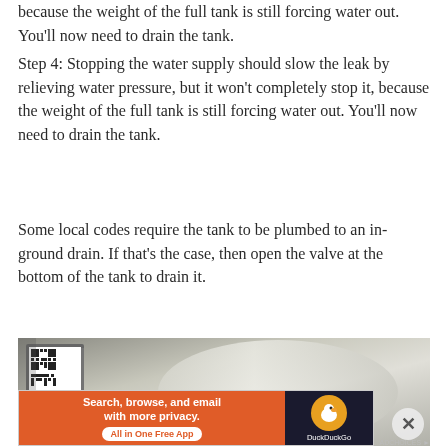because the weight of the full tank is still forcing water out. You'll now need to drain the tank.
Step 4: Stopping the water supply should slow the leak by relieving water pressure, but it won't completely stop it, because the weight of the full tank is still forcing water out. You'll now need to drain the tank.
Some local codes require the tank to be plumbed to an in-ground drain. If that's the case, then open the valve at the bottom of the tank to drain it.
[Figure (photo): Photo of a water heater tank, showing a QR code label on the left side and a cylindrical tank surface]
Advertisements
[Figure (screenshot): DuckDuckGo advertisement banner: orange section with text 'Search, browse, and email with more privacy. All in One Free App' and dark section with DuckDuckGo logo]